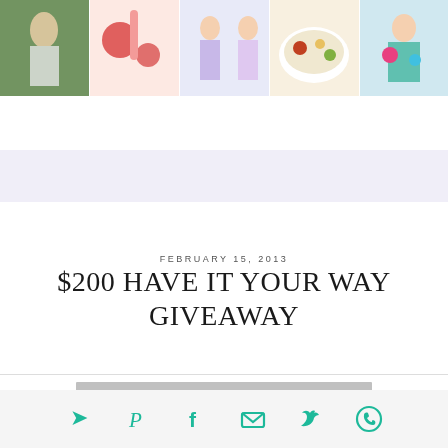[Figure (photo): Header photo strip with 5 images: woman outdoors, strawberry drinks, two girls in dresses, food bowl, woman with colorful paint]
[Figure (illustration): Hamburger menu icon (three horizontal lines)]
[Figure (other): Lavender/light purple banner background]
FEBRUARY 15, 2013
$200 HAVE IT YOUR WAY GIVEAWAY
[Figure (other): Partial gray bar at bottom of content area]
Pinterest, Facebook, Email, Twitter, WhatsApp social share icons